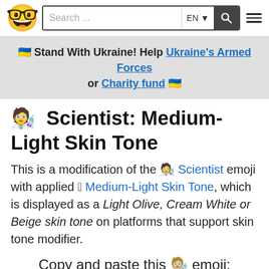Search ... EN [search icon] [hamburger menu]
🇺🇦 Stand With Ukraine! Help Ukraine's Armed Forces or Charity fund 🇺🇦
🧑‍🔬 Scientist: Medium-Light Skin Tone
This is a modification of the 🧑‍🔬 Scientist emoji with applied 🏼 Medium-Light Skin Tone, which is displayed as a Light Olive, Cream White or Beige skin tone on platforms that support skin tone modifier.
Copy and paste this 🧑🏼‍🔬 emoji: